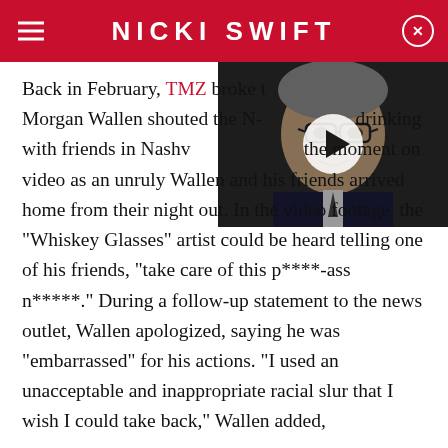NICKI SWIFT
[Figure (photo): Video thumbnail showing a man in a suit and glasses, with a play button overlay]
Back in February, TMZ broke the news that Morgan Wallen shouted the N-word while drinking with friends in Nashville, capturing the moment on video as an unruly Wallen and his friends arrived home from their night out. In the video footage, the "Whiskey Glasses" artist could be heard telling one of his friends, "take care of this p****-ass n*****". During a follow-up statement to the news outlet, Wallen apologized, saying he was "embarrassed" for his actions. "I used an unacceptable and inappropriate racial slur that I wish I could take back," Wallen added,